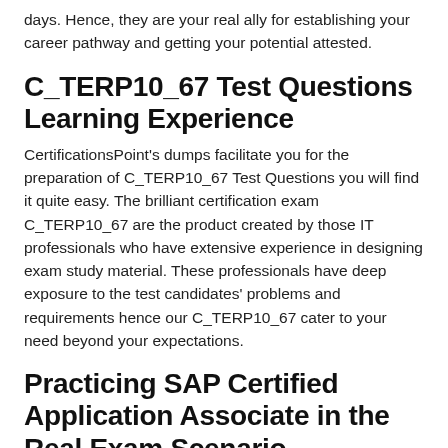days. Hence, they are your real ally for establishing your career pathway and getting your potential attested.
C_TERP10_67 Test Questions Learning Experience
CertificationsPoint's dumps facilitate you for the preparation of C_TERP10_67 Test Questions you will find it quite easy. The brilliant certification exam C_TERP10_67 are the product created by those IT professionals who have extensive experience in designing exam study material. These professionals have deep exposure to the test candidates' problems and requirements hence our C_TERP10_67 cater to your need beyond your expectations.
Practicing SAP Certified Application Associate in the Real Exam Scenario
Revised and updated according to the syllabus changes and all the latest developments in theory and practice.